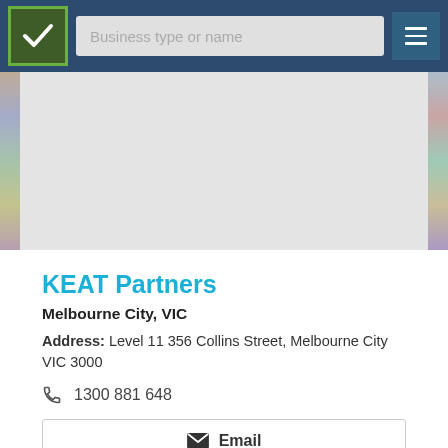[Figure (screenshot): Navigation bar with logo (green checkmark box), search input 'Business type or name', and hamburger menu icon on dark blue background]
[Figure (photo): Light grey background area with collage photo strips on left and right edges]
KEAT Partners
Melbourne City, VIC
Address: Level 11 356 Collins Street, Melbourne City VIC 3000
1300 881 648
Email